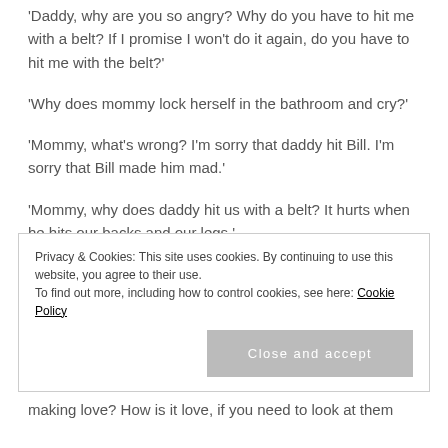'Daddy, why are you so angry? Why do you have to hit me with a belt? If I promise I won't do it again, do you have to hit me with the belt?'
'Why does mommy lock herself in the bathroom and cry?'
'Mommy, what's wrong? I'm sorry that daddy hit Bill. I'm sorry that Bill made him mad.'
'Mommy, why does daddy hit us with a belt? It hurts when he hits our backs and our legs.'
'Get married? I don't want to get married. I don't even know
Privacy & Cookies: This site uses cookies. By continuing to use this website, you agree to their use.
To find out more, including how to control cookies, see here: Cookie Policy
Close and accept
making love? How is it love, if you need to look at them